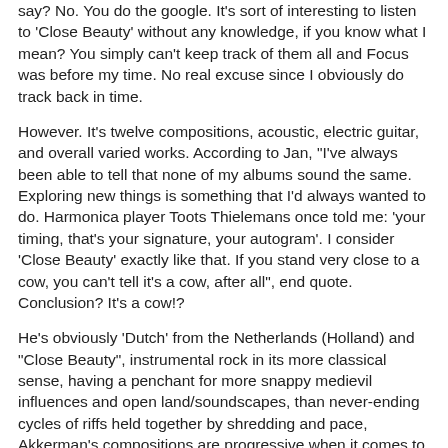say? No. You do the google. It's sort of interesting to listen to 'Close Beauty' without any knowledge, if you know what I mean? You simply can't keep track of them all and Focus was before my time. No real excuse since I obviously do track back in time.
However. It's twelve compositions, acoustic, electric guitar, and overall varied works. According to Jan, "I've always been able to tell that none of my albums sound the same. Exploring new things is something that I'd always wanted to do. Harmonica player Toots Thielemans once told me: 'your timing, that's your signature, your autogram'. I consider 'Close Beauty' exactly like that. If you stand very close to a cow, you can't tell it's a cow, after all", end quote. Conclusion? It's a cow!?
He's obviously 'Dutch' from the Netherlands (Holland) and "Close Beauty", instrumental rock in its more classical sense, having a penchant for more snappy medievil influences and open land/soundscapes, than never-ending cycles of riffs held together by shredding and pace, Akkerman's compositions are progressive when it comes to updating the